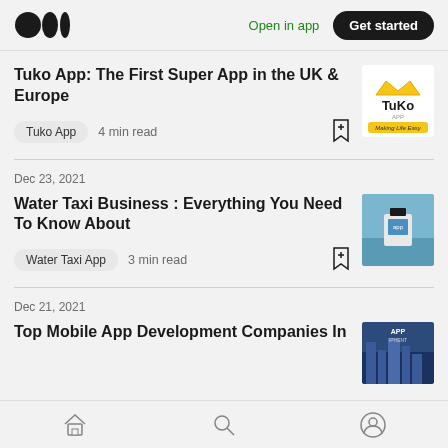Medium logo | Open in app | Get started
Tuko App: The First Super App in the UK & Europe
Tuko App  4 min read
Dec 23, 2021
Water Taxi Business : Everything You Need To Know About
Water Taxi App  3 min read
Dec 21, 2021
Top Mobile App Development Companies In
Home | Search | Profile